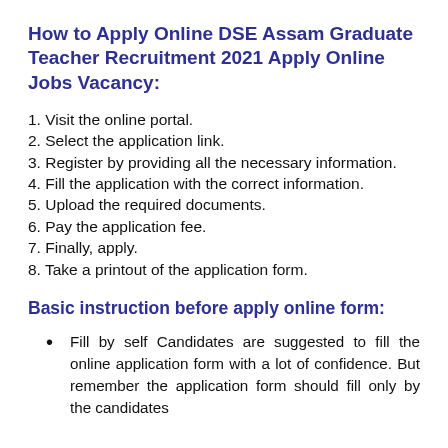How to Apply Online DSE Assam Graduate Teacher Recruitment 2021 Apply Online Jobs Vacancy:
1. Visit the online portal.
2. Select the application link.
3. Register by providing all the necessary information.
4. Fill the application with the correct information.
5. Upload the required documents.
6. Pay the application fee.
7. Finally, apply.
8. Take a printout of the application form.
Basic instruction before apply online form:
Fill by self Candidates are suggested to fill the online application form with a lot of confidence. But remember the application form should fill only by the candidates